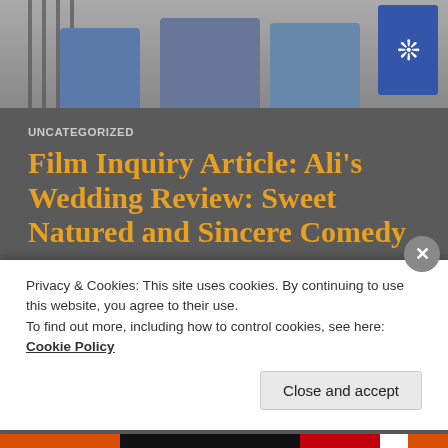[Figure (photo): Photo strip at top showing people sitting, likely outdoors near a fence, with a decorative snowflake element at top right]
UNCATEGORIZED
Film Inquiry Article: Ali's Wedding Review: Sweet Natured and Sincere Comedy
Here's a link to a review I've written for Film Inquiry of the Netflix original film Ali's Wedding. Hope you enjoy!
Continue reading
27TH JUN 2018 / LEAVE A COMMENT
Privacy & Cookies: This site uses cookies. By continuing to use this website, you agree to their use.
To find out more, including how to control cookies, see here: Cookie Policy
Close and accept